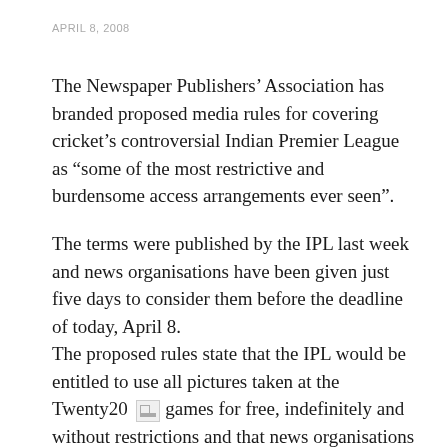APRIL 8, 2008
The Newspaper Publishers’ Association has branded proposed media rules for covering cricket’s controversial Indian Premier League as “some of the most restrictive and burdensome access arrangements ever seen”.
The terms were published by the IPL last week and news organisations have been given just five days to consider them before the deadline of today, April 8.
The proposed rules state that the IPL would be entitled to use all pictures taken at the Twenty20 games for free, indefinitely and without restrictions and that news organisations must upload all images and pay all costs, similar to demands made by organisers last year ahead of the